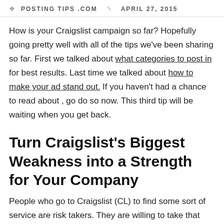POSTINGTIPS.COM   APRIL 27, 2015
How is your Craigslist campaign so far? Hopefully going pretty well with all of the tips we've been sharing so far. First we talked about what categories to post in for best results. Last time we talked about how to make your ad stand out. If you haven't had a chance to read about , go do so now. This third tip will be waiting when you get back.
Turn Craigslist's Biggest Weakness into a Strength for Your Company
People who go to Craigslist (CL) to find some sort of service are risk takers. They are willing to take that risk mostly because of cheaper prices that an individual entrepreneur can provide. There is no guarantee behind a CL ad, there is no established reputation, and there are no track records or independent